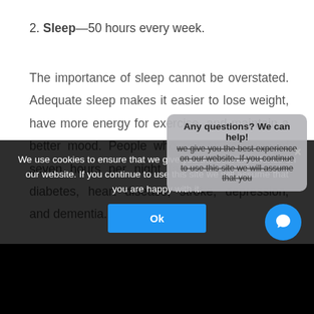2. Sleep—50 hours every week.
The importance of sleep cannot be overstated. Adequate sleep makes it easier to lose weight, have more energy for exercise, and maintain a better mood. People who get an average of seven hours per night face a lower risk of diabetes, heart disease, stroke, depression, and dementia.
3. Vitamins—Multivitamin, Vitamin D, Calcium.
Vitamin D is crucial for calcium absorption and bone health.